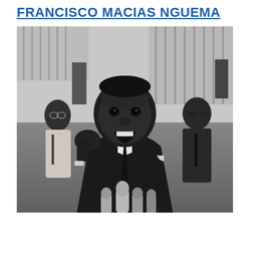FRANCISCO MACIAS NGUEMA
[Figure (photo): Black and white photograph of Francisco Macias Nguema speaking passionately at a microphone, raising his right fist, wearing a dark suit and tie. Two men are visible behind him in the background, one to the left wearing glasses and a light suit, one to the right wearing sunglasses and a dark suit. Both background figures appear to be holding signs or placards.]